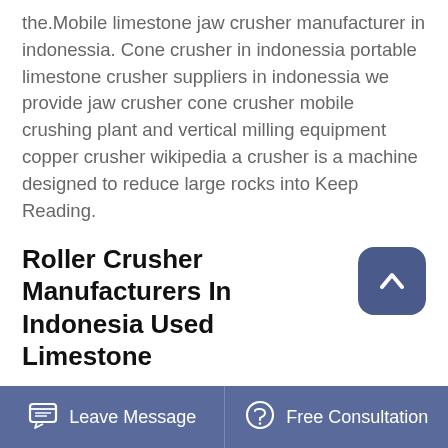the.Mobile limestone jaw crusher manufacturer in indonessia. Cone crusher in indonessia portable limestone crusher suppliers in indonessia we provide jaw crusher cone crusher mobile crushing plant and vertical milling equipment copper crusher wikipedia a crusher is a machine designed to reduce large rocks into Keep Reading.
Roller Crusher Manufacturers In Indonesia Used Limestone
Cone Crusher Manufacturers In Indonesia. cone crusher manufacturers In indonesia. mobile limestone crusher supplier in indonesia. portable limestone cone crusher suppliers in malaysia. portable limestone crusher manufacturer in
Leave Message   Free Consultation